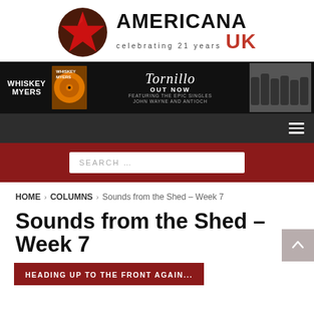[Figure (logo): Americana UK logo with red star graphic and text 'AMERICANA celebrating 21 years UK']
[Figure (photo): Whiskey Myers Tornillo album advertisement banner showing band name, album artwork with orange vinyl, text 'Tornillo OUT NOW FEATURING THE EPIC SINGLES JOHN WAYNE AND ANTIOCH', and band photo]
[Figure (screenshot): Dark navigation bar with hamburger menu icon on the right]
[Figure (screenshot): Dark red search bar with white search input field showing placeholder text 'SEARCH ...']
HOME > COLUMNS > Sounds from the Shed – Week 7
Sounds from the Shed – Week 7
HEADING UP TO THE FRONT AGAIN...